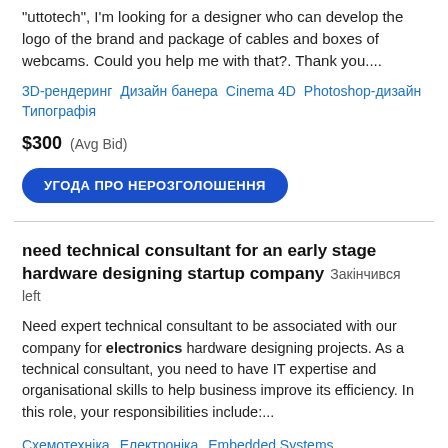"uttotech", I'm looking for a designer who can develop the logo of the brand and package of cables and boxes of webcams. Could you help me with that?. Thank you....
3D-рендеринг   Дизайн банера   Cinema 4D   Photoshop-дизайн   Типографія
$300  (Avg Bid)
УГОДА ПРО НЕРОЗГОЛОШЕННЯ
need technical consultant for an early stage hardware designing startup company  Закінчився left
Need expert technical consultant to be associated with our company for electronics hardware designing projects. As a technical consultant, you need to have IT expertise and organisational skills to help business improve its efficiency. In this role, your responsibilities include:...
Схемотехніка   Електроніка   Embedded Systems